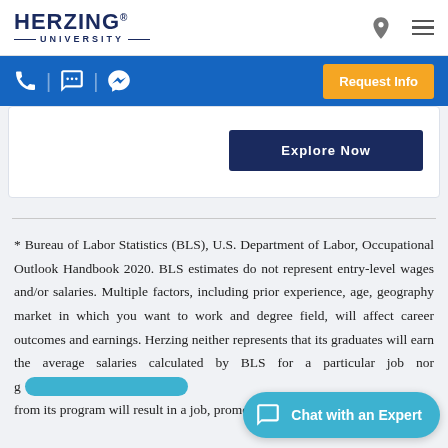HERZING UNIVERSITY
[Figure (screenshot): Herzing University website navigation bar with logo, location icon, hamburger menu, blue action bar with phone/chat/messenger icons and Request Info button, and a partial card with Explore Now button]
* Bureau of Labor Statistics (BLS), U.S. Department of Labor, Occupational Outlook Handbook 2020. BLS estimates do not represent entry-level wages and/or salaries. Multiple factors, including prior experience, age, geography market in which you want to work and degree field, will affect career outcomes and earnings. Herzing neither represents that its graduates will earn the average salaries calculated by BLS for a particular job nor [that graduation] from its program will result in a job, promo[tion...]
[Figure (screenshot): Chat with an Expert button in teal/cyan pill shape at bottom right]